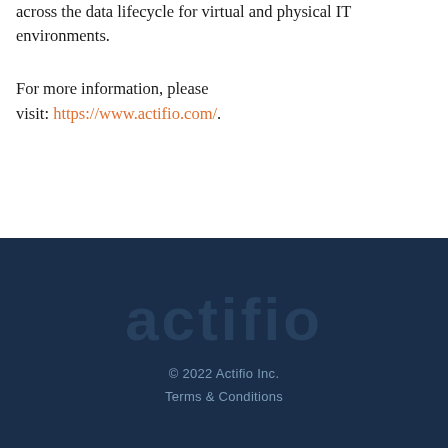across the data lifecycle for virtual and physical IT environments.
For more information, please visit: https://www.actifio.com/.
[Figure (logo): Actifio logo in muted blue-grey on dark navy background]
© 2022 Actifio Inc.
Terms & Conditions